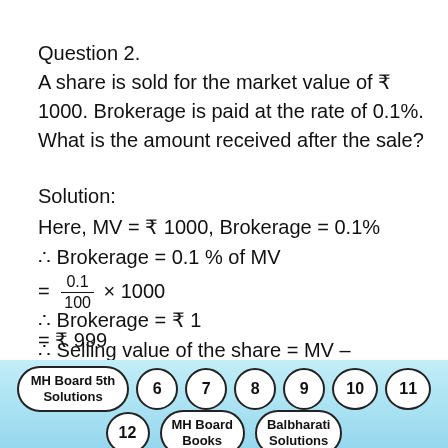Question 2.
A share is sold for the market value of ₹ 1000. Brokerage is paid at the rate of 0.1%. What is the amount received after the sale?
Solution:
Here, MV = ₹ 1000, Brokerage = 0.1%
∴ Brokerage = 0.1 % of MV
∴ Brokerage = ₹ 1
∴ Selling value of the share = MV – Brokerage
= 1000 – 1
= ₹ 999
MH Board 5th Solutions  6  7  8  9  10  11  12  MH Board Books  Balbharati Solutions